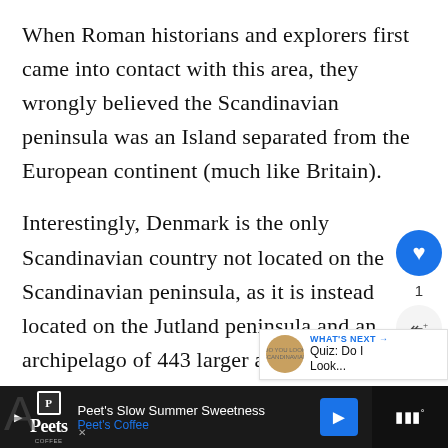When Roman historians and explorers first came into contact with this area, they wrongly believed the Scandinavian peninsula was an Island separated from the European continent (much like Britain).
Interestingly, Denmark is the only Scandinavian country not located on the Scandinavian peninsula, as it is instead located on the Jutland peninsula and an archipelago of 443 larger and smaller islands.
[Figure (screenshot): Web UI sidebar elements: heart/like button (blue circle with heart icon), count of 1, share button (grey circle with share icon). Also a 'WHAT'S NEXT' panel showing a thumbnail and text 'Quiz: Do I Look...']
[Figure (screenshot): Advertisement bar at bottom of page: Peet's Coffee ad with 'Peet's Slow Summer Sweetness' text and blue navigation arrow, plus dark right panel with audio/media controls.]